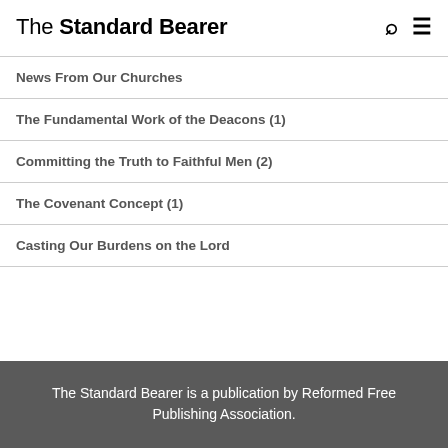The Standard Bearer
News From Our Churches
The Fundamental Work of the Deacons (1)
Committing the Truth to Faithful Men (2)
The Covenant Concept (1)
Casting Our Burdens on the Lord
The Standard Bearer is a publication by Reformed Free Publishing Association.